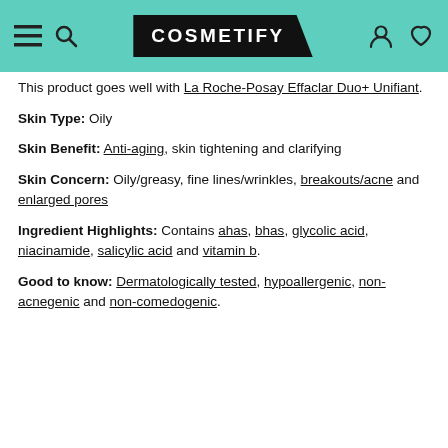COSMETIFY
This product goes well with La Roche-Posay Effaclar Duo+ Unifiant.
Skin Type: Oily
Skin Benefit: Anti-aging, skin tightening and clarifying
Skin Concern: Oily/greasy, fine lines/wrinkles, breakouts/acne and enlarged pores
Ingredient Highlights: Contains ahas, bhas, glycolic acid, niacinamide, salicylic acid and vitamin b.
Good to know: Dermatologically tested, hypoallergenic, non-acnegenic and non-comedogenic.